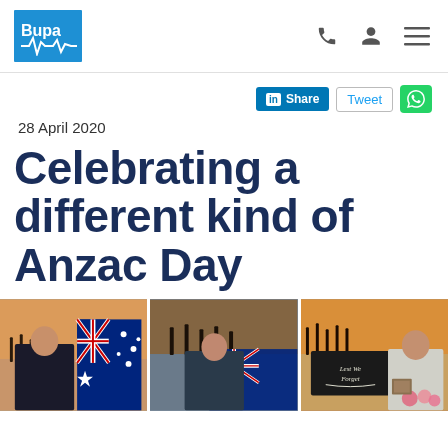Bupa logo header with navigation icons
28 April 2020
Celebrating a different kind of Anzac Day
[Figure (photo): Three photos side by side: 1) Man in suit with medals standing in front of Australian flag with Anzac artwork. 2) Man standing in front of Australian flag with Anzac artwork. 3) Man in room with Lest We Forget chalkboard sign and flowers.]